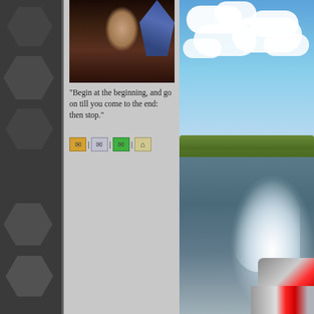[Figure (illustration): Left panel with dark gray background featuring hexagonal shapes in various shades of gray arranged vertically]
[Figure (photo): Small portrait/costume photo showing a person in elaborate period costume with hat and decorative elements]
"Begin at the beginning, and go on till you come to the end: then stop."
[Figure (infographic): Row of small pixel-art icons: envelope/letter icons and house icon separated by vertical bars]
[Figure (photo): Outdoor photo taken from a motorboat showing white water spray wake, a lake, forested hillside, and blue sky with white clouds]